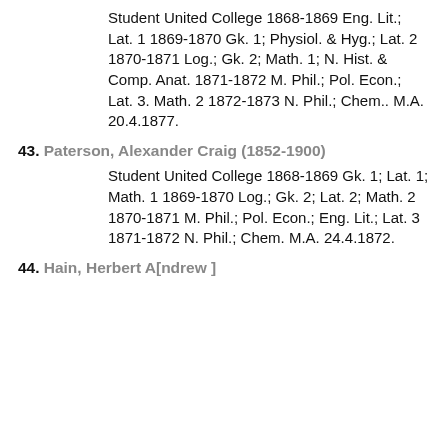Student United College 1868-1869 Eng. Lit.; Lat. 1 1869-1870 Gk. 1; Physiol. & Hyg.; Lat. 2 1870-1871 Log.; Gk. 2; Math. 1; N. Hist. & Comp. Anat. 1871-1872 M. Phil.; Pol. Econ.; Lat. 3. Math. 2 1872-1873 N. Phil.; Chem.. M.A. 20.4.1877.
43. Paterson, Alexander Craig (1852-1900)
Student United College 1868-1869 Gk. 1; Lat. 1; Math. 1 1869-1870 Log.; Gk. 2; Lat. 2; Math. 2 1870-1871 M. Phil.; Pol. Econ.; Eng. Lit.; Lat. 3 1871-1872 N. Phil.; Chem. M.A. 24.4.1872.
44. Hain, Herbert A[ndrew ]